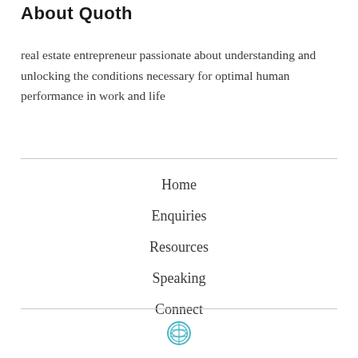About Quoth
real estate entrepreneur passionate about understanding and unlocking the conditions necessary for optimal human performance in work and life
Home
Enquiries
Resources
Speaking
Connect
[Figure (logo): WordPress logo mark in cyan/teal color]